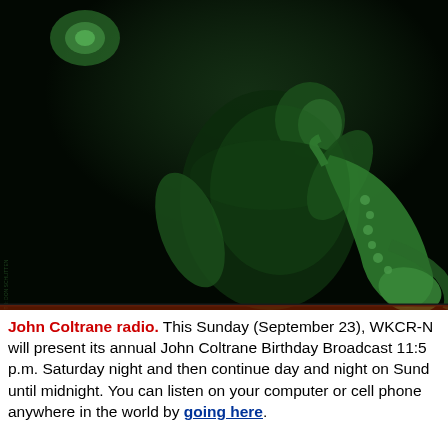[Figure (photo): Black and white photograph with green color treatment of John Coltrane playing saxophone on stage, shot against a dark background. The musician is leaning forward into the saxophone, seen in profile/three-quarter view.]
John Coltrane radio. This Sunday (September 23), WKCR-N will present its annual John Coltrane Birthday Broadcast 11:5 p.m. Saturday night and then continue day and night on Sund until midnight. You can listen on your computer or cell phone anywhere in the world by going here.